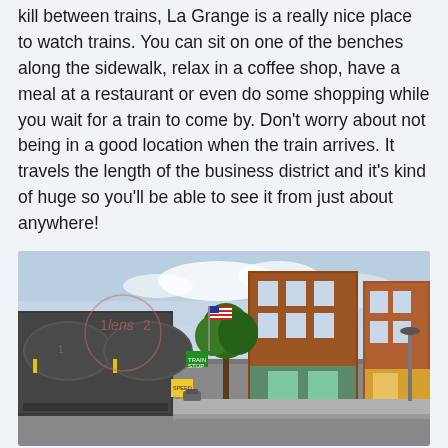kill between trains, La Grange is a really nice place to watch trains. You can sit on one of the benches along the sidewalk, relax in a coffee shop, have a meal at a restaurant or even do some shopping while you wait for a train to come by. Don't worry about not being in a good location when the train arrives. It travels the length of the business district and it's kind of huge so you'll be able to see it from just about anywhere!
[Figure (photo): Street-level photo showing train tanker cars on the left passing through La Grange's Main Street business district, with brick storefronts, trees, and an American flag visible on the right. A watermark reads '1lens2'.]
Watch the trains from anywhere on Main Street.
Check out the La Grange Main Street Program website for a listing of all there is to see and do on Main Street. Heck, there's even a railroad